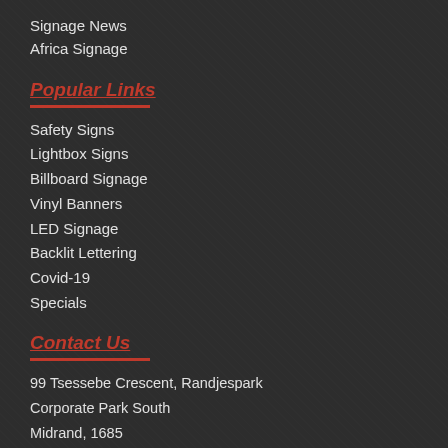Signage News
Africa Signage
Popular Links
Safety Signs
Lightbox Signs
Billboard Signage
Vinyl Banners
LED Signage
Backlit Lettering
Covid-19
Specials
Contact Us
99 Tsessebe Crescent, Randjespark
Corporate Park South
Midrand, 1685
Phone: 010 745 7163